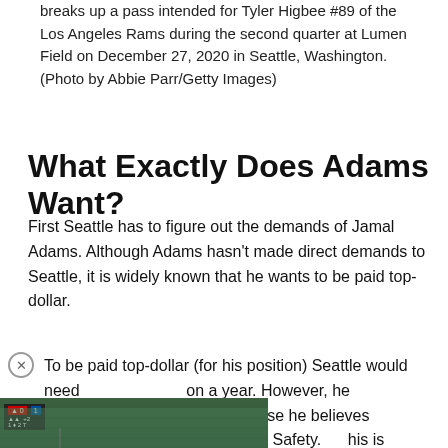breaks up a pass intended for Tyler Higbee #89 of the Los Angeles Rams during the second quarter at Lumen Field on December 27, 2020 in Seattle, Washington. (Photo by Abbie Parr/Getty Images)
What Exactly Does Adams Want?
First Seattle has to figure out the demands of Jamal Adams. Although Adams hasn't made direct demands to Seattle, it is widely known that he wants to be paid top-dollar.
To be paid top-dollar (for his position) Seattle would need on a year. However, he wants that because he believes that rather than a Safety. his is a ee with as he can play as a
[Figure (screenshot): Video player showing a baseball stadium with a play button overlay, scoreboard in upper left, and an advertisement bar at the bottom]